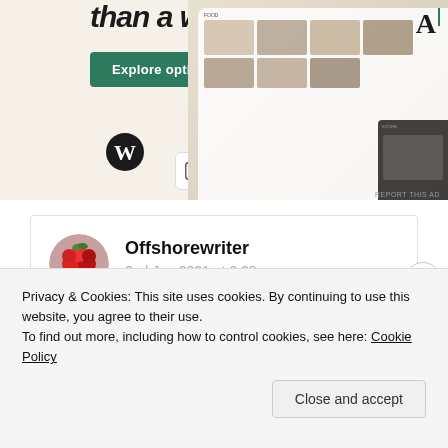[Figure (screenshot): WordPress.com advertisement banner showing text 'than a week', an Explore options button, WordPress logo, plugin icon, and mock food-related website screens on the right side]
[Figure (photo): User avatar showing raspberries/red berries for commenter Offshorewriter]
Offshorewriter
2nd Jun 2021 at 6:28 pm
Privacy & Cookies: This site uses cookies. By continuing to use this website, you agree to their use.
To find out more, including how to control cookies, see here: Cookie Policy
Close and accept